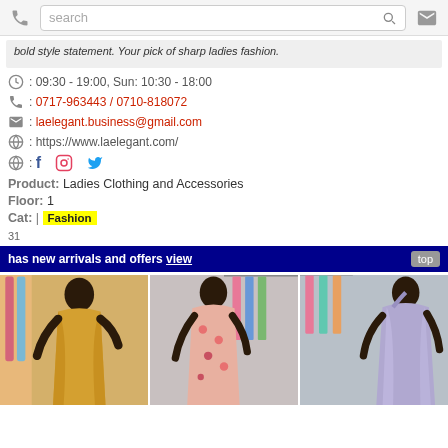search
bold style statement. Your pick of sharp ladies fashion.
09:30 - 19:00, Sun: 10:30 - 18:00
0717-963443 / 0710-818072
laelegant.business@gmail.com
https://www.laelegant.com/
Social icons: Facebook, Instagram, Twitter
Product: Ladies Clothing and Accessories
Floor: 1
Cat: | Fashion
31
has new arrivals and offers view   top
[Figure (photo): Three fashion photos showing female mannequins wearing ladies clothing: yellow wrap dress, pink floral maxi dress, and purple satin dress.]